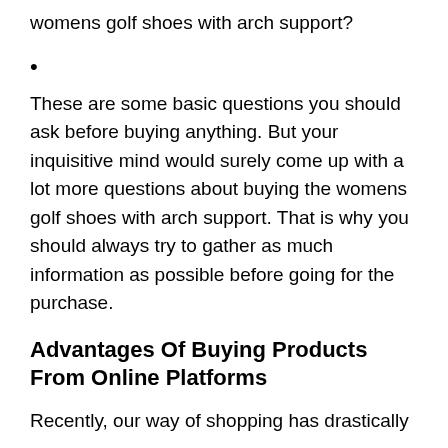womens golf shoes with arch support?
These are some basic questions you should ask before buying anything. But your inquisitive mind would surely come up with a lot more questions about buying the womens golf shoes with arch support. That is why you should always try to gather as much information as possible before going for the purchase.
Advantages Of Buying Products From Online Platforms
Recently, our way of shopping has drastically